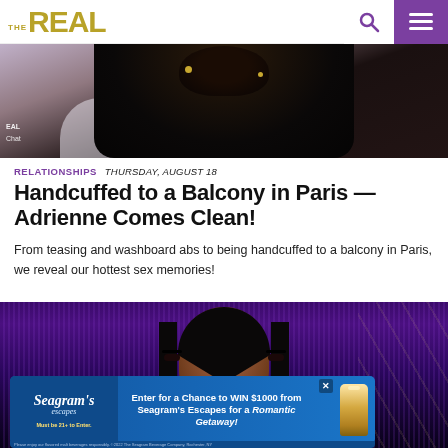THE REAL
[Figure (photo): Person in black leather outfit with hair up, seated in a white chair, on a TV show set. Small 'REAL' and 'Chat' text overlay on the left side.]
RELATIONSHIPS   THURSDAY, AUGUST 18
Handcuffed to a Balcony in Paris — Adrienne Comes Clean!
From teasing and washboard abs to being handcuffed to a balcony in Paris, we reveal our hottest sex memories!
[Figure (photo): Person on a TV show set with purple sparkling backdrop and geometric hex pattern on right side.]
Enter for a Chance to WIN $1000 from Seagram's Escapes for a Romantic Getaway! Must be 21+ to Enter. Please enjoy our flavored malt beverages responsibly. ©2022 The Seagram Beverage Company, Rochester, NY